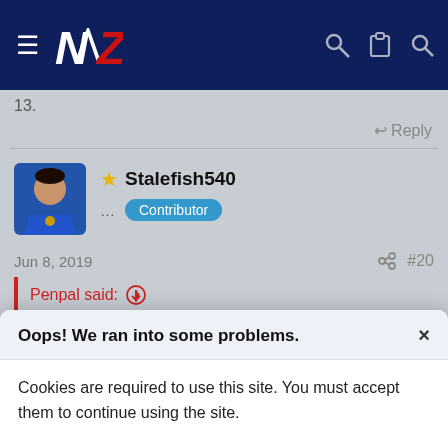NVZ site header with menu, logo, key, clipboard, search icons
13.
↩ Reply
★ Stalefish540 ... Contributor
Jun 8, 2019
#20
Penpal said: ↑
I couldn't believe the crap Pearce was talking when Safiti was
Oops! We ran into some problems. ×
Cookies are required to use this site. You must accept them to continue using the site.